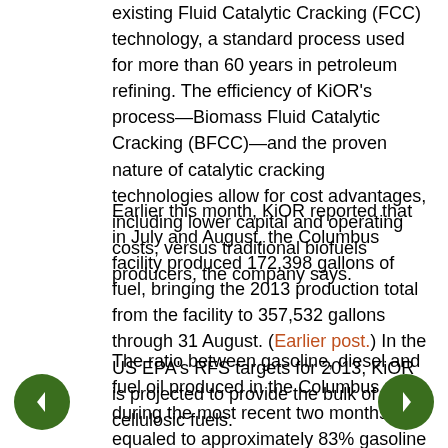existing Fluid Catalytic Cracking (FCC) technology, a standard process used for more than 60 years in petroleum refining. The efficiency of KiOR's process—Biomass Fluid Catalytic Cracking (BFCC)—and the proven nature of catalytic cracking technologies allow for cost advantages, including lower capital and operating costs, versus traditional biofuels producers, the company says.
Earlier this month, KiOR reported that in July and August, the Columbus facility produced 172,398 gallons of fuel, bringing the 2013 production total from the facility to 357,532 gallons through 31 August. (Earlier post.) In the US EPA's RFS targets for 2013, KiOR is projected to provide the bulk of the cellulosic fuels.
The ratio between gasoline, diesel and fuel oil produced in the Columbus plant during the most recent two months equaled to approximately 83% gasoline and diesel, with the remaining production as fuel oil. Production from Columbus during July and August exceeded total second quarter production by nearly 40,000 gallons.